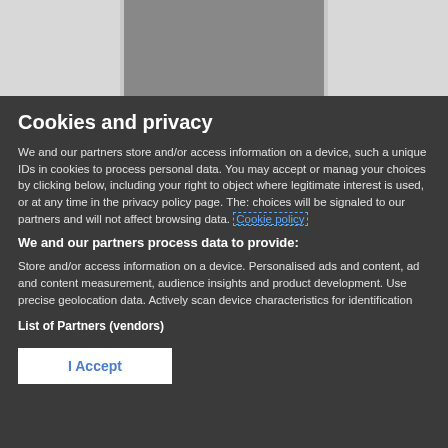[Figure (photo): Partial image visible at the top of the page, showing a grayscale photograph with a darker center portion and lighter edges.]
Cookies and privacy
We and our partners store and/or access information on a device, such as unique IDs in cookies to process personal data. You may accept or manage your choices by clicking below, including your right to object where legitimate interest is used, or at any time in the privacy policy page. These choices will be signaled to our partners and will not affect browsing data. Cookie policy
We and our partners process data to provide:
Store and/or access information on a device. Personalised ads and content, ad and content measurement, audience insights and product development. Use precise geolocation data. Actively scan device characteristics for identification
List of Partners (vendors)
I Accept